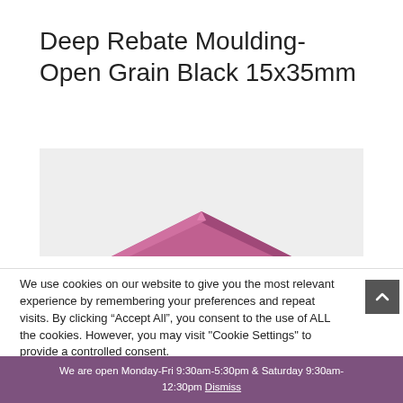Deep Rebate Moulding-Open Grain Black 15x35mm
[Figure (photo): Product photo showing a section of purple/pink deep rebate moulding frame corner on a light grey background]
We use cookies on our website to give you the most relevant experience by remembering your preferences and repeat visits. By clicking “Accept All”, you consent to the use of ALL the cookies. However, you may visit "Cookie Settings" to provide a controlled consent.
We are open Monday-Fri 9:30am-5:30pm & Saturday 9:30am-12:30pm Dismiss